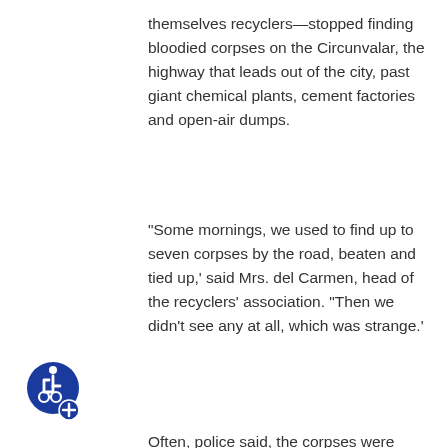themselves recyclers—stopped finding bloodied corpses on the Circunvalar, the highway that leads out of the city, past giant chemical plants, cement factories and open-air dumps.
“Some mornings, we used to find up to seven corpses by the road, beaten and tied up,' said Mrs. del Carmen, head of the recyclers' association. “Then we didn't see any at all, which was strange.'
Often, police said, the corpses were dumped by right-wing groups organizing a cleanup campaign to rid Colombia of the homeless, drug addicts, prostitutes and beggars. But after November, investigators believe, some of those corpses may have been sold to the medical school.
[Figure (illustration): Blue circular accessibility icon with wheelchair symbol and a plus sign at the bottom right]